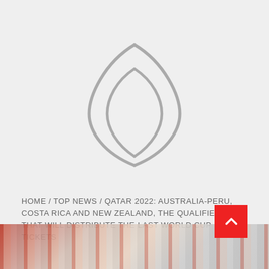[Figure (other): Loading spinner / placeholder graphic showing two curved parenthesis-like arcs centered on a light gray background]
HOME / TOP NEWS / QATAR 2022: AUSTRALIA-PERU, COSTA RICA AND NEW ZEALAND, THE QUALIFIERS THAT WILL DISTRIBUTE THE LAST WORLD CUP TICKETS
[Figure (photo): Partial photo of a crowd of sports fans, partially obscured by a red scroll-to-top button in the bottom right corner]